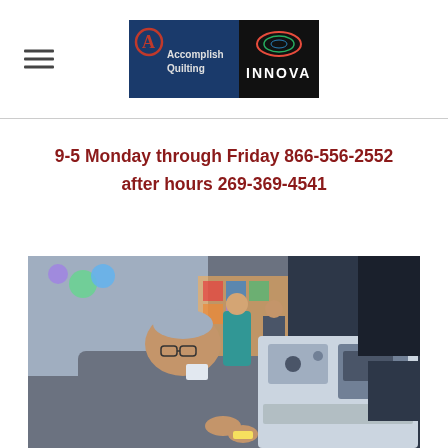Accomplish Quilting | INNOVA
9-5 Monday through Friday 866-556-2552
after hours 269-369-4541
[Figure (photo): A man working on an Innova quilting machine at what appears to be a trade show or expo, with other attendees and quilting displays visible in the background.]